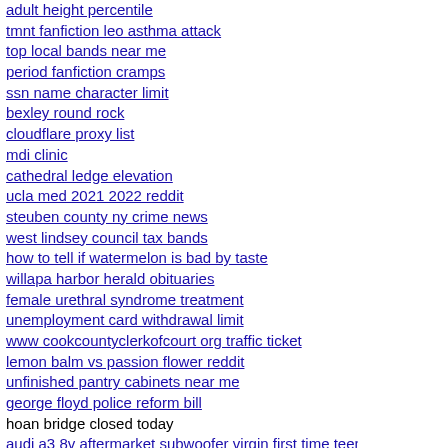adult height percentile
tmnt fanfiction leo asthma attack
top local bands near me
period fanfiction cramps
ssn name character limit
bexley round rock
cloudflare proxy list
mdi clinic
cathedral ledge elevation
ucla med 2021 2022 reddit
steuben county ny crime news
west lindsey council tax bands
how to tell if watermelon is bad by taste
willapa harbor herald obituaries
female urethral syndrome treatment
unemployment card withdrawal limit
www cookcountyclerkofcourt org traffic ticket
lemon balm vs passion flower reddit
unfinished pantry cabinets near me
george floyd police reform bill
hoan bridge closed today
audi a3 8v aftermarket subwoofer | virgin first time teen sex videos
sabbath school lesson 13 | brighton college tatler
App Exclusive - Extra 20% Off Heatwave Styles!*
£1 Next Day Delivery!* use code: POUND